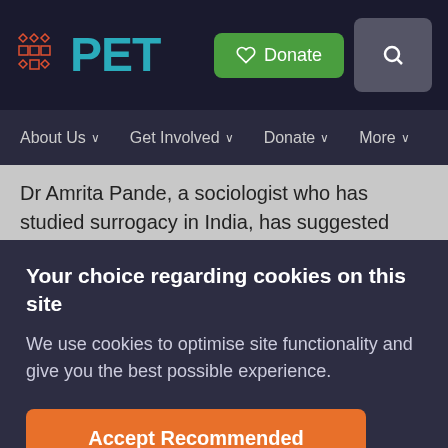[Figure (logo): PET website logo with grid icon and teal PET text]
About Us   Get Involved   Donate   More
Dr Amrita Pande, a sociologist who has studied surrogacy in India, has suggested that 'narratives that increase [surrogates'] feelings of self-worth are also
Your choice regarding cookies on this site
We use cookies to optimise site functionality and give you the best possible experience.
Accept Recommended Settings
Cookie Preferences